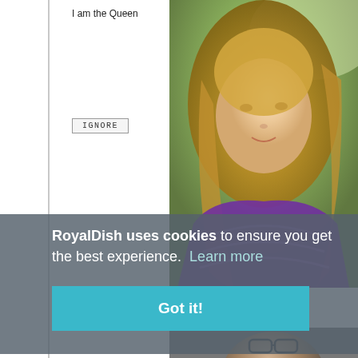I am the Queen
IGNORE
[Figure (photo): Photo of a young blonde girl smiling, wearing a dark red/maroon knit sweater, with a green outdoor background]
RoyalDish uses cookies to ensure you get the best experience.  Learn more
Got it!
[Figure (photo): Partial photo of a person with glasses visible at the bottom of the page]